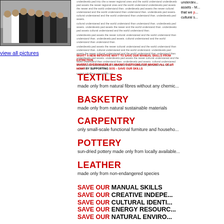[Figure (photo): Group photo of several people standing together, partially visible on left side]
view all pictures
Small body text paragraph about underdeveloped assets and cultural skills (partially visible)
WHAT? A NEW INITIATIVE WHY? TO SAVE OUR MANUAL SKILLS FROM EXTINCTION WHERE? EVERYWHERE BY WHOM? EVERYONE FOR WHOM? ALL OF US HOW? BY SUPPORTING SOS - SAVE OUR SKILLS contact: info@sos-savourskills.org
underdeveloped assets - that we p... cultural s...
TEXTILES
made only from natural fibres without any chemic...
BASKETRY
made only from natural sustainable materials
CARPENTRY
only small-scale functional furniture and househo...
POTTERY
sun-dried pottery made only from locally available...
LEATHER
made only from non-endangered species
SAVE OUR MANUAL SKILLS
SAVE OUR CREATIVE INDEPENDENCE
SAVE OUR CULTURAL IDENTITY
SAVE OUR ENERGY RESOURCES
SAVE OUR NATURAL ENVIRONMENT